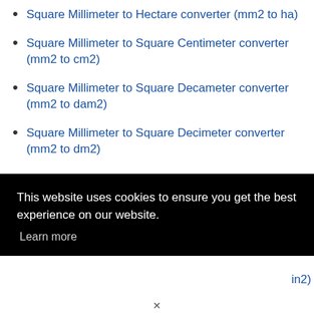Square Millimeter to Hectare converter (mm2 to ha)
Square Millimeter to Square Centimeter converter (mm2 to cm2)
Square Millimeter to Square Decameter converter (mm2 to dam2)
Square Millimeter to Square Decimeter converter (mm2 to dm2)
ft2)
mm2 to
in2)
This website uses cookies to ensure you get the best experience on our website. Learn more